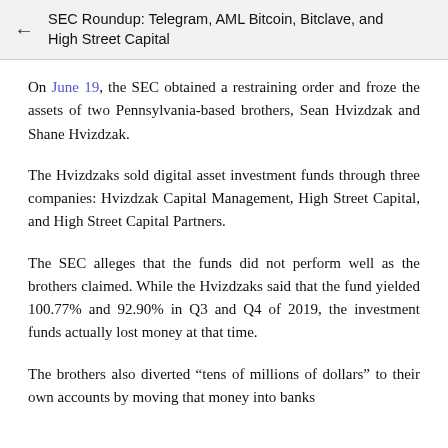SEC Roundup: Telegram, AML Bitcoin, Bitclave, and High Street Capital
On June 19, the SEC obtained a restraining order and froze the assets of two Pennsylvania-based brothers, Sean Hvizdzak and Shane Hvizdzak.
The Hvizdzaks sold digital asset investment funds through three companies: Hvizdzak Capital Management, High Street Capital, and High Street Capital Partners.
The SEC alleges that the funds did not perform well as the brothers claimed. While the Hvizdzaks said that the fund yielded 100.77% and 92.90% in Q3 and Q4 of 2019, the investment funds actually lost money at that time.
The brothers also diverted "tens of millions of dollars" to their own accounts by moving that money into banks